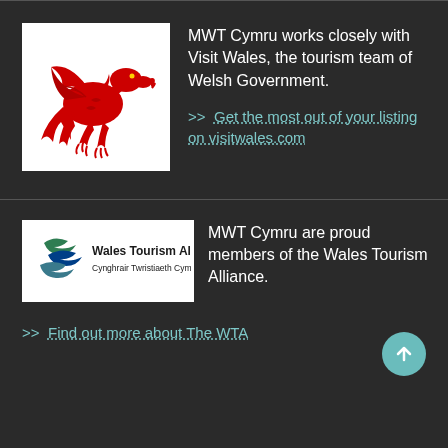[Figure (logo): Red Welsh dragon on white background — Visit Wales / Welsh Government logo]
MWT Cymru works closely with Visit Wales, the tourism team of Welsh Government.
>> Get the most out of your listing on visitwales.com
[Figure (logo): Wales Tourism Alliance / Cynghrair Twristiaeth Cymru logo on white background]
MWT Cymru are proud members of the Wales Tourism Alliance.
>> Find out more about The WTA